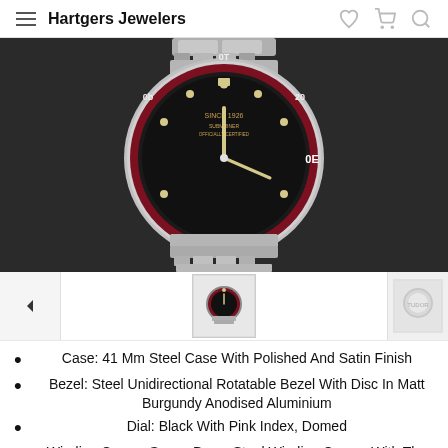Hartgers Jewelers
[Figure (photo): Tudor Black Bay watch with burgundy/red bezel and black dial, shown close-up with steel bracelet on dark background]
[Figure (photo): Thumbnail strip: left arrow navigation, Tudor watch thumbnail, right watch thumbnail]
Case: 41 Mm Steel Case With Polished And Satin Finish
Bezel: Steel Unidirectional Rotatable Bezel With Disc In Matt Burgundy Anodised Aluminium
Dial: Black With Pink Index, Domed
Winding Crown: Screw-Down Steel Winding Crown, With The Tudor